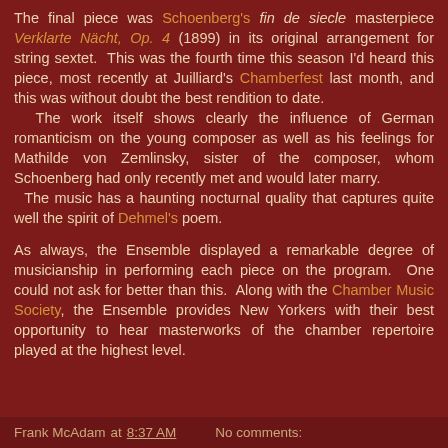The final piece was Schoenberg's fin de siecle masterpiece Verklarte Nächt, Op. 4 (1899) in its original arrangement for string sextet. This was the fourth time this season I'd heard this piece, most recently at Juilliard's Chamberfest last month, and this was without doubt the best rendition to date. The work itself shows clearly the influence of German romanticism on the young composer as well as his feelings for Mathilde von Zemlinsky, sister of the composer, whom Schoenberg had only recently met and would later marry. The music has a haunting nocturnal quality that captures quite well the spirit of Dehmel's poem.
As always, the Ensemble displayed a remarkable degree of musicianship in performing each piece on the program. One could not ask for better than this. Along with the Chamber Music Society, the Ensemble provides New Yorkers with their best opportunity to hear masterworks of the chamber repertoire played at the highest level.
Frank McAdam at 8:37 AM    No comments: